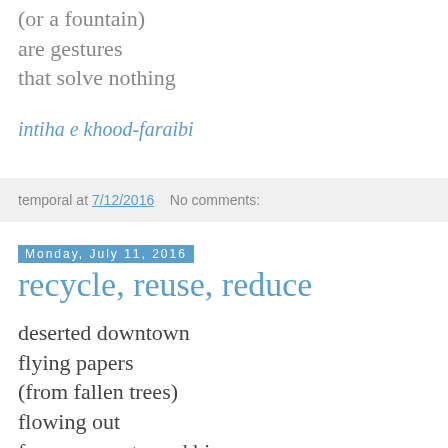(or a fountain)
are gestures
that solve nothing
intiha e khood-faraibi
temporal at 7/12/2016   No comments:
Monday, July 11, 2016
recycle, reuse, reduce
deserted downtown
flying papers
(from fallen trees)
flowing out
from an overturned bin
a municipal logo on the side
proclaiming